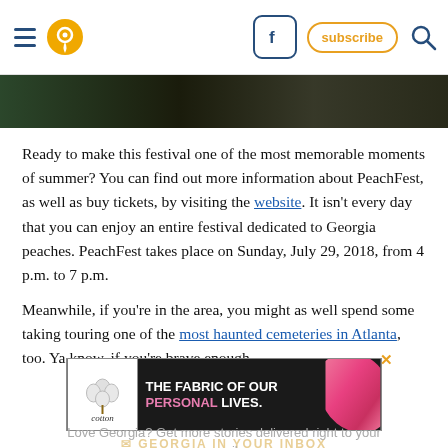Navigation header with hamburger menu, location pin icon, Facebook button, subscribe button, and search icon
[Figure (photo): Dark outdoor photo strip showing trees/foliage at top of content area]
Ready to make this festival one of the most memorable moments of summer? You can find out more information about PeachFest, as well as buy tickets, by visiting the website. It isn’t every day that you can enjoy an entire festival dedicated to Georgia peaches. PeachFest takes place on Sunday, July 29, 2018, from 4 p.m. to 7 p.m.
Meanwhile, if you’re in the area, you might as well spend some taking touring one of the most haunted cemeteries in Atlanta, too. Ya know, if you’re brave enough.
[Figure (infographic): Advertisement banner: cotton logo with text 'THE FABRIC OF OUR PERSONAL LIVES.' with pink fabric image]
GEORGIA IN YOUR INBOX
Love Georgia? Get more stories delivered right to your email.